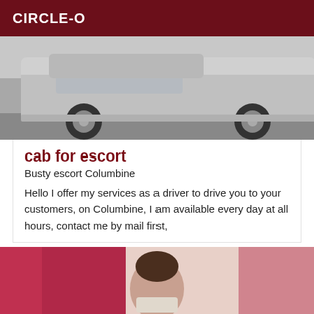CIRCLE-O
[Figure (photo): Photo of a car from below windshield level, showing front bumper, hood and wheel, parked on a street]
cab for escort
Busty escort Columbine
Hello I offer my services as a driver to drive you to your customers, on Columbine, I am available every day at all hours, contact me by mail first,
[Figure (photo): Photo of a young woman in a bedroom with pink/red curtains, wearing a bra and skirt, sitting on a bed]